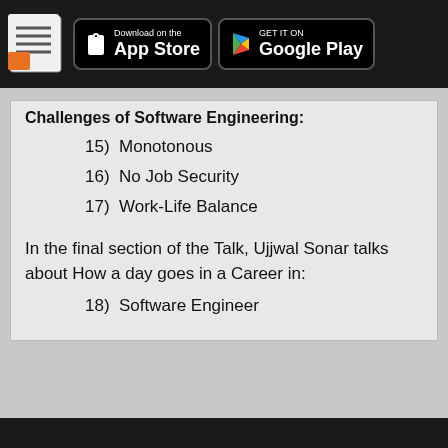Download on the App Store | GET IT ON Google Play
Challenges of Software Engineering:
15)  Monotonous
16)  No Job Security
17)  Work-Life Balance
In the final section of the Talk, Ujjwal Sonar talks about How a day goes in a Career in:
18)  Software Engineer